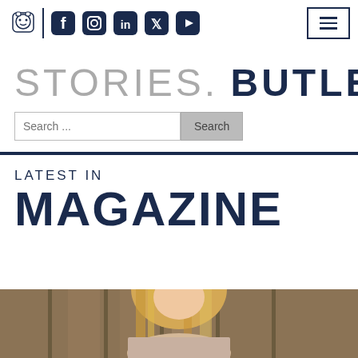Butler University Stories - Header with logo, social icons, and navigation
STORIES. BUTLER
Search ...
LATEST IN
MAGAZINE
[Figure (photo): Partial photo of a person with blonde hair, visible from shoulders up, in front of wooden doors or architecture]